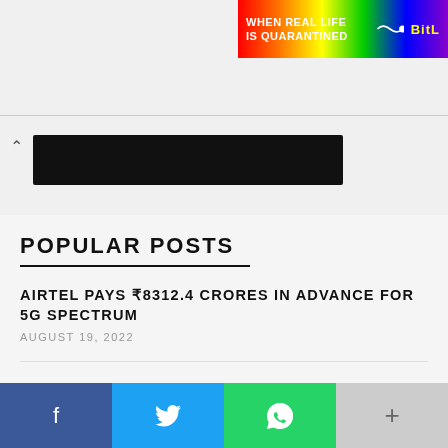[Figure (illustration): Colorful rainbow-striped banner advertisement with text 'WHEN REAL LIFE IS QUARANTINED' and 'BitL' logo with a worm/snake icon on a rainbow gradient background]
[Figure (screenshot): Collapsed navigation or search bar area with a caret/up-arrow icon and a black redacted/hidden bar]
POPULAR POSTS
AIRTEL PAYS ₹8312.4 CRORES IN ADVANCE FOR 5G SPECTRUM
AUGUST 19, 2022
UPCOMING GAME RELEASES FOR PS5 AND PS4 IN 2022
[Figure (infographic): Social media share buttons bar: Facebook (blue), Twitter (light blue), WhatsApp (green), More/Plus (grey)]